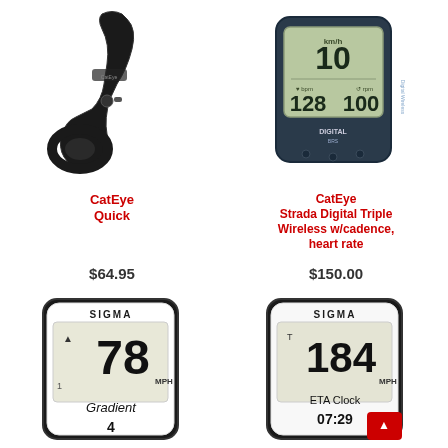[Figure (photo): CatEye Quick bike computer mount/bracket, black plastic, shown from side angle]
[Figure (photo): CatEye Strada Digital Triple Wireless bicycle computer with cadence and heart rate, showing digital display with km/h, bpm, rpm readings]
CatEye Quick
CatEye Strada Digital Triple Wireless w/cadence, heart rate
$64.95
$150.00
[Figure (photo): SIGMA bike computer showing MPH speed display with Gradient reading, black and white design]
[Figure (photo): SIGMA bike computer showing MPH speed display with ETA Clock and time 07:29, white design]